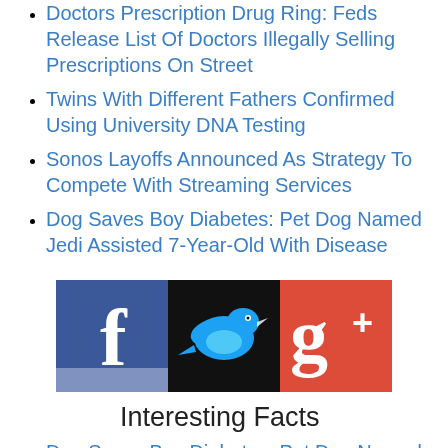Doctors Prescription Drug Ring: Feds Release List Of Doctors Illegally Selling Prescriptions On Street
Twins With Different Fathers Confirmed Using University DNA Testing
Sonos Layoffs Announced As Strategy To Compete With Streaming Services
Dog Saves Boy Diabetes: Pet Dog Named Jedi Assisted 7-Year-Old With Disease
[Figure (infographic): Social media icons: Facebook (blue), Twitter (black background with blue bird), Google+ (red)]
Interesting Facts
Dog Saves Boy Diabetes: Pet Dog Named Jedi Assisted 7-Year-Old With Disease